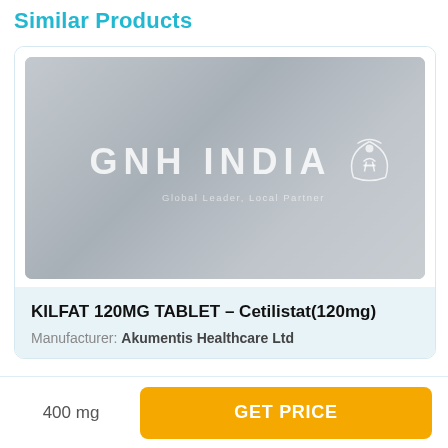Similar Products
[Figure (logo): GNH India logo watermark on gray gradient background. White text reads 'GNH INDIA' with a stylized figure/globe emblem and tagline 'Global Leader, Local Partner'.]
KILFAT 120MG TABLET – Cetilistat(120mg)
Manufacturer: Akumentis Healthcare Ltd
400 mg
GET PRICE